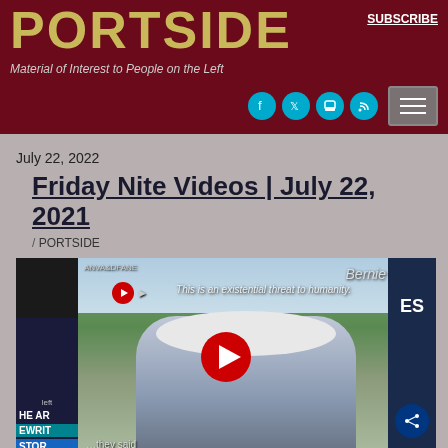PORTSIDE
Material of Interest to People on the Left
SUBSCRIBE
July 22, 2022
Friday Nite Videos | July 22, 2021
/ PORTSIDE
[Figure (screenshot): YouTube video thumbnail showing a person speaking with text overlay 'This is an existential threat to humanity.' and a red YouTube play button in the center. Side panels show partial text: HE ART, REWRIT, STOR on left; ES on right. A share button is visible bottom right.]